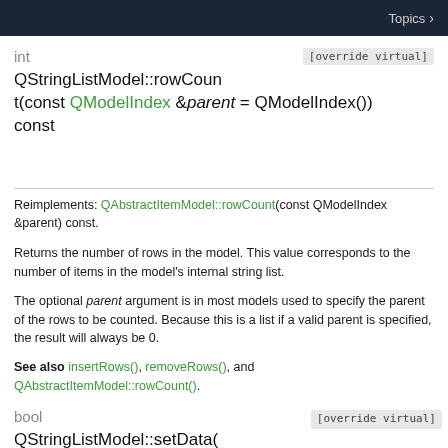Topics
int QStringListModel::rowCount(const QModelIndex &parent = QModelIndex()) const [override virtual]
Reimplements: QAbstractItemModel::rowCount(const QModelIndex &parent) const.
Returns the number of rows in the model. This value corresponds to the number of items in the model's internal string list.
The optional parent argument is in most models used to specify the parent of the rows to be counted. Because this is a list if a valid parent is specified, the result will always be 0.
See also insertRows(), removeRows(), and QAbstractItemModel::rowCount().
bool QStringListModel::setData( const QModelIndex &index, const QVariant &value [override virtual]